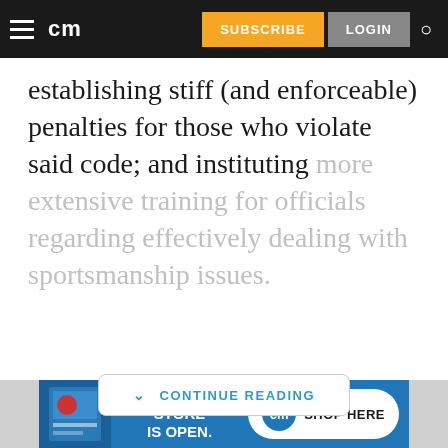cm | SUBSCRIBE | LOGIN
establishing stiff (and enforceable) penalties for those who violate said code; and instituting more extensive training for officials regarding effectively dealing with sportsmanship issues.
CONTINUE READING
[Figure (other): Advertisement banner: OUR ONLINE STORE IS OPEN. cm SHOP HERE]